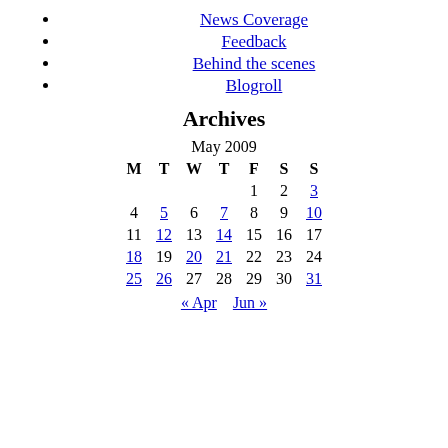News Coverage
Feedback
Behind the scenes
Blogroll
Archives
| M | T | W | T | F | S | S |
| --- | --- | --- | --- | --- | --- | --- |
|  |  |  |  | 1 | 2 | 3 |
| 4 | 5 | 6 | 7 | 8 | 9 | 10 |
| 11 | 12 | 13 | 14 | 15 | 16 | 17 |
| 18 | 19 | 20 | 21 | 22 | 23 | 24 |
| 25 | 26 | 27 | 28 | 29 | 30 | 31 |
« Apr   Jun »